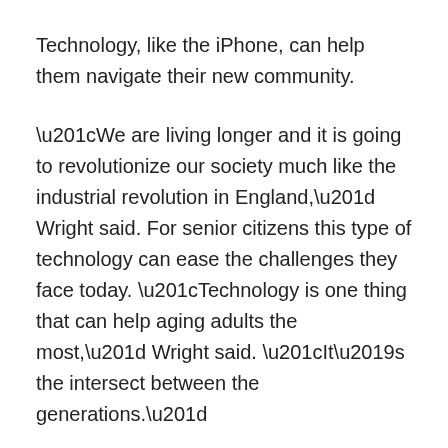Technology, like the iPhone, can help them navigate their new community.
“We are living longer and it is going to revolutionize our society much like the industrial revolution in England,” Wright said. For senior citizens this type of technology can ease the challenges they face today. “Technology is one thing that can help aging adults the most,” Wright said. “It’s the intersect between the generations.”
With more than 85,000 downloadable applications, known as apps, available to iPhone users, senior citizens are sure to find something on the iPhone that can benefit them. One such app that Towne demonstrated is “Evernote,” which helps users with memory troubles. People can record voice notes, type notes and even create visual notes using the iPhone’s camera. All of the